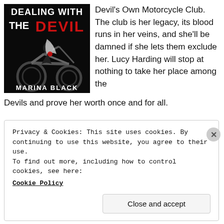[Figure (illustration): Book cover for 'Dealing with the Devil' by Marina Black — dark background with motorcycle and rider, red and white title text]
Devil's Own Motorcycle Club. The club is her legacy, its blood runs in her veins, and she'll be damned if she lets them exclude her. Lucy Harding will stop at nothing to take her place among the Devils and prove her worth once and for all.
Privacy & Cookies: This site uses cookies. By continuing to use this website, you agree to their use.
To find out more, including how to control cookies, see here:
Cookie Policy
Close and accept